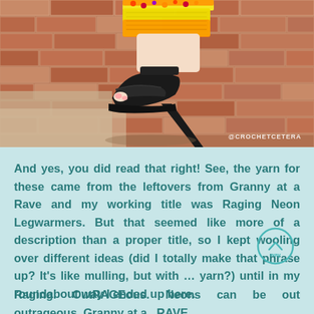[Figure (photo): A foot wearing a black high-heeled sandal with a colorful crocheted neon yellow and orange legwarmer/bootie cuff on a brick surface. Watermark @CROCHETCETERA visible.]
And yes, you did read that right! See, the yarn for these came from the leftovers from Granny at a Rave and my working title was Raging Neon Legwarmers. But that seemed like more of a description than a proper title, so I kept wooling over different ideas (did I totally make that phrase up? It's like mulling, but with … yarn?) until in my roundabout way I ended up here.
Raging. OutRAGEous. Neons can be out outrageous. Granny at a RAVE